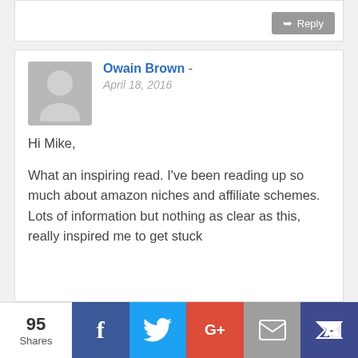[Figure (screenshot): Reply button in gray at top right of a comment area]
Owain Brown - April 18, 2016

Hi Mike,

What an inspiring read. I've been reading up so much about amazon niches and affiliate schemes. Lots of information but nothing as clear as this, really inspired me to get stuck
95 Shares | Facebook | Twitter | Google+ | Email | King (social share bar)